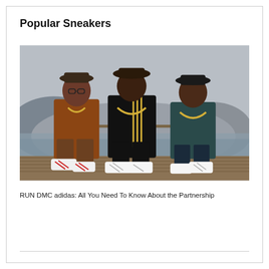Popular Sneakers
[Figure (photo): Three members of RUN DMC sitting on a wooden dock/pier wearing Adidas sneakers (white with stripes), gold chains, bucket hats, and track/casual outfits. A lake and mountains are visible in the background.]
RUN DMC adidas: All You Need To Know About the Partnership